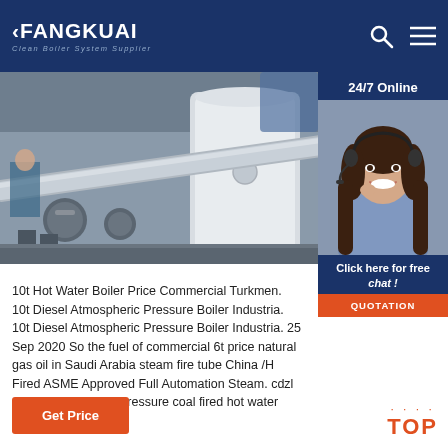FANGKUAI — Clean Boiler System Supplier
[Figure (photo): Industrial boiler facility with pipes and valves visible, large white boiler tank in background]
[Figure (photo): 24/7 Online support widget showing a woman with headset and chat/quotation buttons]
10t Hot Water Boiler Price Commercial Turkmen. 10t Diesel Atmospheric Pressure Boiler Industria. 10t Diesel Atmospheric Pressure Boiler Industria. 25 Sep 2020 So the fuel of commercial 6t price natural gas oil in Saudi Arabia steam fire tube China /H Fired ASME Approved Full Automation Steam. cdzl series atmospheric pressure coal fired hot water boiler.
Get Price
TOP